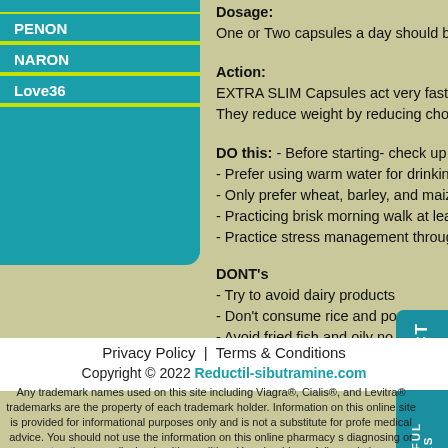PENON
NARON
Love36
Dosage:
One or Two capsules a day should be…
Action:
EXTRA SLIM Capsules act very fast… They reduce weight by reducing cho…
DO this: - Before starting- check up y… - Prefer using warm water for drinkin… - Only prefer wheat, barley, and maiz… - Practicing brisk morning walk at lea… - Practice stress management throug…
DONT's
- Try to avoid dairy products…
- Don't consume rice and po…
- Avoid fried fish and oily no…
- Try avoiding banana, grape…
- Try avoiding sedentary hab…
Privacy Policy | Terms & Conditions
Copyright © 2022 Reductil-sibutramine.com
Any trademark names used on this site including Viagra®, Cialis®, and Levitra® … trademarks are the property of each trademark holder. Information on this online … site is provided for informational purposes only and is not a substitute for profe… medical advice. You should not use the information on this online pharmacy s… diagnosing or treating a medical or health condition. You should carefully read al…